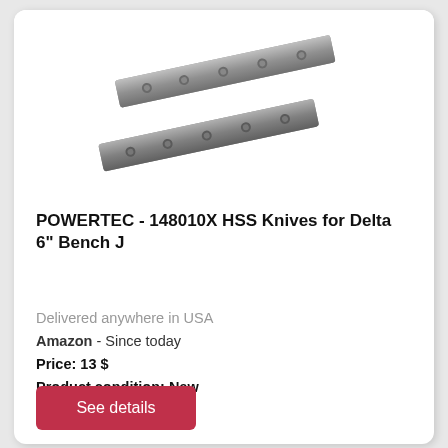[Figure (photo): Two metallic HSS planer knives/blades with mounting holes, shown at a slight angle on a white background]
POWERTEC - 148010X HSS Knives for Delta 6" Bench J
Delivered anywhere in USA
Amazon  - Since today
Price: 13 $
Product condition: New
See details